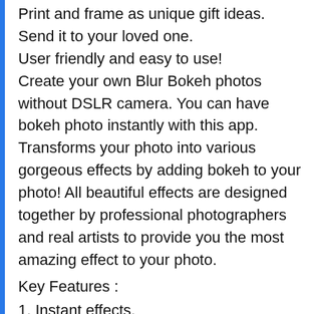Print and frame as unique gift ideas.
Send it to your loved one.
User friendly and easy to use!
Create your own Blur Bokeh photos without DSLR camera. You can have bokeh photo instantly with this app. Transforms your photo into various gorgeous effects by adding bokeh to your photo! All beautiful effects are designed together by professional photographers and real artists to provide you the most amazing effect to your photo.
Key Features :
1. Instant effects.
2. Erase unwanted bokeh on your face.